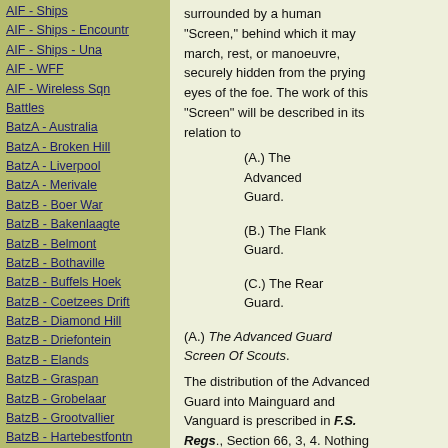AIF - Ships
AIF - Ships - Encountr
AIF - Ships - Una
AIF - WFF
AIF - Wireless Sqn
Battles
BatzA - Australia
BatzA - Broken Hill
BatzA - Liverpool
BatzA - Merivale
BatzB - Boer War
BatzB - Bakenlaagte
BatzB - Belmont
BatzB - Bothaville
BatzB - Buffels Hoek
BatzB - Coetzees Drift
BatzB - Diamond Hill
BatzB - Driefontein
BatzB - Elands
BatzB - Graspan
BatzB - Grobelaar
BatzB - Grootvallier
BatzB - Hartebestfontn
BatzB - Houtnek
BatzB - Karee Siding
BatzB - Kimberley
BatzB - Koster River
BatzB - Leeuw Kop
surrounded by a human "Screen," behind which it may march, rest, or manoeuvre, securely hidden from the prying eyes of the foe. The work of this "Screen" will be described in its relation to
(A.) The Advanced Guard.
(B.) The Flank Guard.
(C.) The Rear Guard.
(A.) The Advanced Guard Screen Of Scouts.
The distribution of the Advanced Guard into Mainguard and Vanguard is prescribed in F.S. Regs., Section 66, 3, 4. Nothing is said as to the formation of the Vanguard.